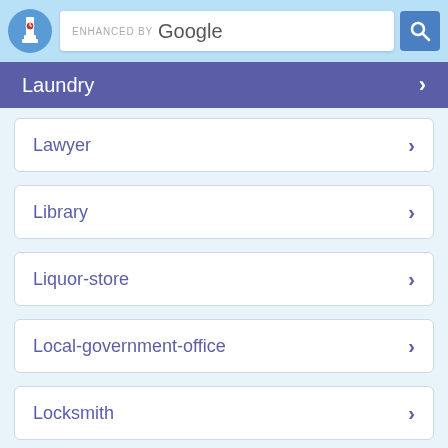[Figure (screenshot): Website header with logo (Big Ben style icon), Google enhanced search bar, and blue search button]
Laundry
Lawyer
Library
Liquor-store
Local-government-office
Locksmith
Lodging
Meal delivery